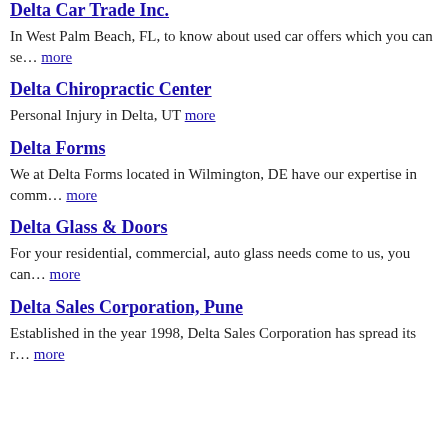Delta Car Trade Inc.
In West Palm Beach, FL, to know about used car offers which you can se… more
Delta Chiropractic Center
Personal Injury in Delta, UT more
Delta Forms
We at Delta Forms located in Wilmington, DE have our expertise in comm… more
Delta Glass & Doors
For your residential, commercial, auto glass needs come to us, you can… more
Delta Sales Corporation, Pune
Established in the year 1998, Delta Sales Corporation has spread its r… more